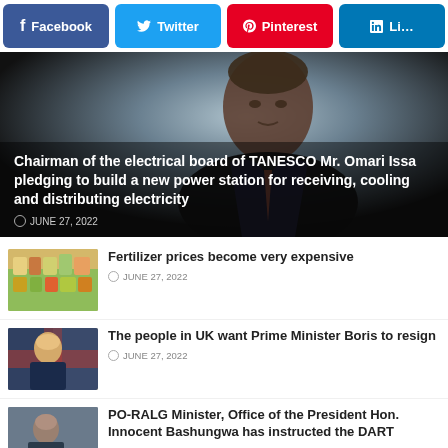[Figure (screenshot): Social media share buttons: Facebook (blue), Twitter (light blue), Pinterest (red), LinkedIn (blue, partially visible)]
[Figure (photo): Hero image of a man (Chairman of TANESCO Mr. Omari Issa) with overlay text]
Chairman of the electrical board of TANESCO Mr. Omari Issa pledging to build a new power station for receiving, cooling and distributing electricity
JUNE 27, 2022
[Figure (photo): Thumbnail showing store shelves with products, related to fertilizer prices article]
Fertilizer prices become very expensive
JUNE 27, 2022
[Figure (photo): Thumbnail showing Boris Johnson, related to UK Prime Minister resignation article]
The people in UK want Prime Minister Boris to resign
JUNE 27, 2022
[Figure (photo): Thumbnail showing a person, related to PO-RALG Minister article]
PO-RALG Minister, Office of the President Hon. Innocent Bashungwa has instructed the DART